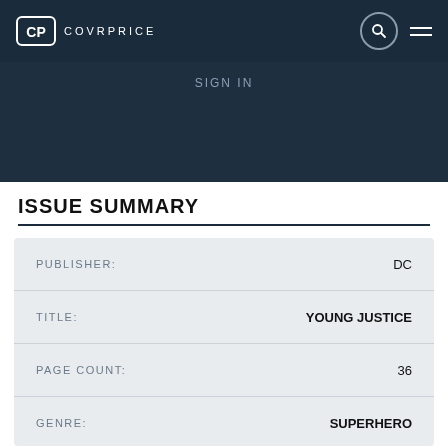COVRPRICE
SIGN IN
ISSUE SUMMARY
| Field | Value |
| --- | --- |
| PUBLISHER: | DC |
| TITLE: | YOUNG JUSTICE |
| PAGE COUNT: | 36 |
| GENRE: | SUPERHERO |
| ERA: | MODERN |
| COVER PRICE: | 2.99 USD |